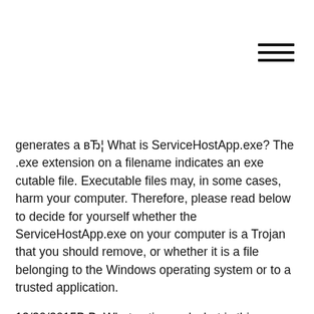[Figure (other): Hamburger menu icon (three horizontal lines) in top-right corner]
generates a вЂ¦ What is ServiceHostApp.exe? The .exe extension on a filename indicates an exe cutable file. Executable files may, in some cases, harm your computer. Therefore, please read below to decide for yourself whether the ServiceHostApp.exe on your computer is a Trojan that you should remove, or whether it is a file belonging to the Windows operating system or to a trusted application.
12/30/2015В В· What active and what is this service: Application Host Helper Service? I deleted the dir C:\inetpub thinking not serve...? Thank you Windows 8.1 Pro 32-Bit Media Center ASUS P5G 41T-M LE Ram 4GB В· Hi alpha